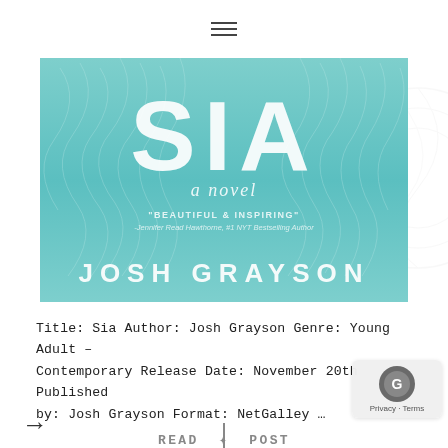☰
[Figure (illustration): Book cover for 'SIA a novel' by Josh Grayson. Teal/mint colored background with feathery wispy elements. Large text 'SIA' at top, subtitle 'a novel', quote 'BEAUTIFUL & INSPIRING' -Jennifer Read Hawthorne, #1 NYT Bestselling Author, and author name 'JOSH GRAYSON' at bottom in large caps.]
Title: Sia Author: Josh Grayson Genre: Young Adult – Contemporary Release Date: November 20th Published by: Josh Grayson Format: NetGalley …